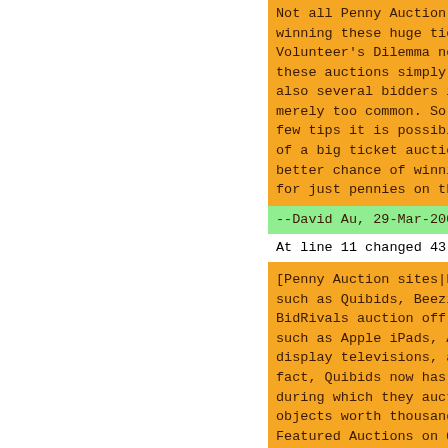Not all Penny Auction methods are for winning these huge ticket items. For Volunteer's Dilemma normally won't these auctions simply because there also several bidders involved. The merely too common. So right here r few tips it is possible to utilize of a big ticket auction to offer b better chance of winning that cost. for just pennies on the dollar.
--David Au, 29-Mar-2007
At line 11 changed 43 lines
[Penny Auction sites|http://www.st such as Quibids, Beezid, BidCactus BidRivals auction off many large t such as Apple iPads, Apple MacBook display televisions, and a lot a l fact, Quibids now has a weekly Fea during which they auction of an it objects worth thousands of bucks. Featured Auctions on Quibids have Honda Civic, super bowl tv package Macbook package deal, and in some Australian Vacation for 2.

Right here are 7 tips to use when a large ticket item:

Method Suggestion 1: Establish You